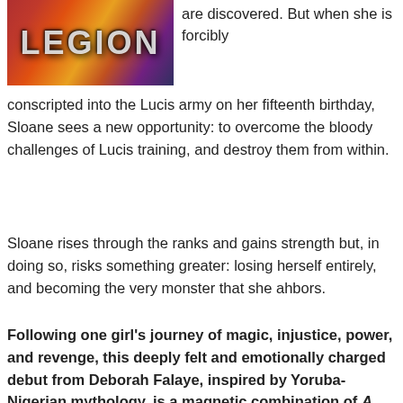[Figure (illustration): Book cover image showing colorful text 'LEGION' or similar title in bold stylized font over a vivid red, orange, and purple background]
are discovered. But when she is forcibly conscripted into the Lucis army on her fifteenth birthday, Sloane sees a new opportunity: to overcome the bloody challenges of Lucis training, and destroy them from within.
Sloane rises through the ranks and gains strength but, in doing so, risks something greater: losing herself entirely, and becoming the very monster that she ahbors.
Following one girl's journey of magic, injustice, power, and revenge, this deeply felt and emotionally charged debut from Deborah Falaye, inspired by Yoruba-Nigerian mythology, is a magnetic combination of A Song of Wraiths and Ruin and Daughter of Smoke and Bone that will